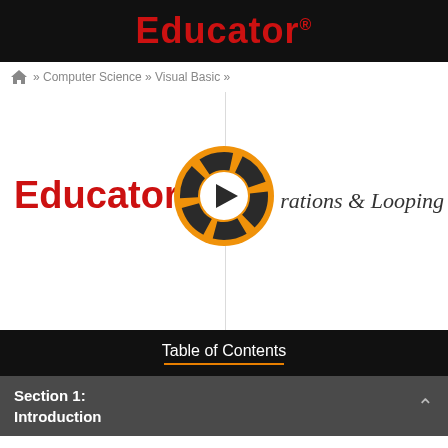Educator®
» Computer Science » Visual Basic »
[Figure (screenshot): Video thumbnail showing Educator logo in red bold text on left, italic text 'iterations & Looping' on right, orange circular play button in center, thin vertical line through middle]
Table of Contents
Section 1: Introduction